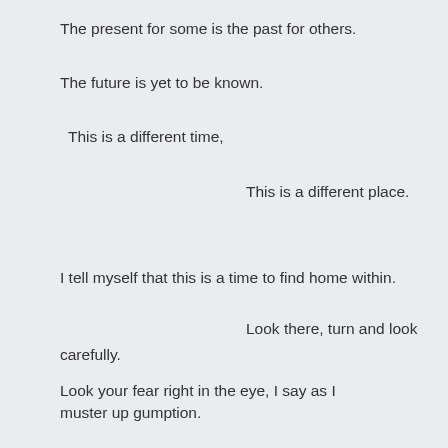The present for some is the past for others.
The future is yet to be known.
This is a different time,
This is a different place.
I tell myself that this is a time to find home within.
Look there, turn and look carefully.
Look your fear right in the eye, I say as I muster up gumption.